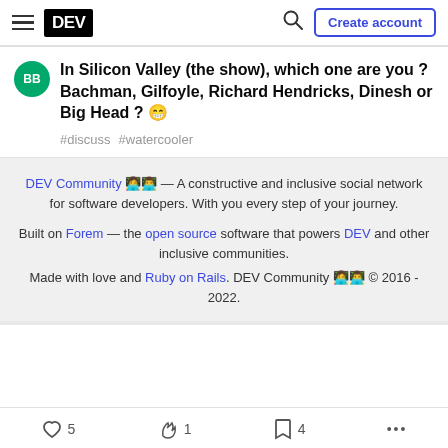DEV — Create account
In Silicon Valley (the show), which one are you ? Bachman, Gilfoyle, Richard Hendricks, Dinesh or Big Head ? 😁
#discuss #watercooler
DEV Community 👩‍💻👨‍💻 — A constructive and inclusive social network for software developers. With you every step of your journey.
Built on Forem — the open source software that powers DEV and other inclusive communities.
Made with love and Ruby on Rails. DEV Community 👩‍💻👨‍💻 © 2016 - 2022.
❤ 5  🔥 1  🔖 4  ...